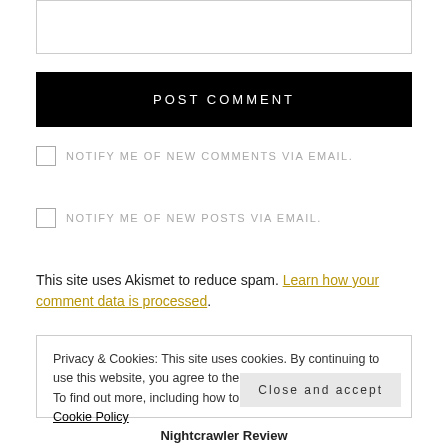[Figure (screenshot): Empty text input box (comment field)]
POST COMMENT
NOTIFY ME OF NEW COMMENTS VIA EMAIL.
NOTIFY ME OF NEW POSTS VIA EMAIL.
This site uses Akismet to reduce spam. Learn how your comment data is processed.
Privacy & Cookies: This site uses cookies. By continuing to use this website, you agree to their use.
To find out more, including how to control cookies, see here: Cookie Policy
Close and accept
Nightcrawler Review